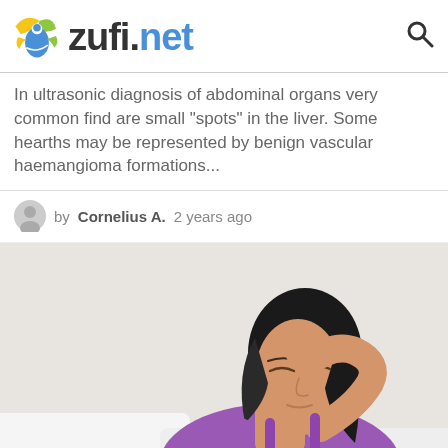zufi.net
In ultrasonic diagnosis of abdominal organs very common find are small “spots” in the liver. Some hearths may be represented by benign vascular haemangioma formations...
by Cornelius A. 2 years ago
[Figure (photo): Woman sitting in bed wearing a purple tank top, with her right hand raised to her forehead, eyes closed, appearing tired or unwell.]